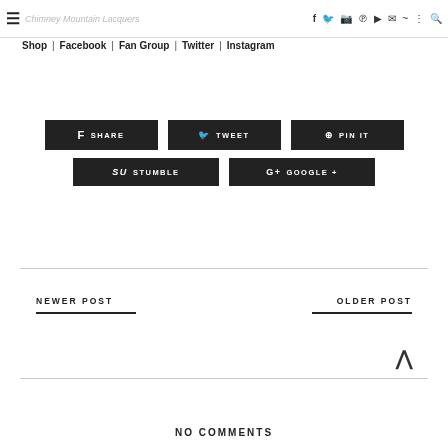☰ Chimney Mountain Lacquers | Shop | Facebook | Fan Group | Twitter | Instagram
f SHARE | 🐦 TWEET | ⊕ PIN IT
Su STUMBLE | G+ GOOGLE +
NEWER POST
OLDER POST
NO COMMENTS